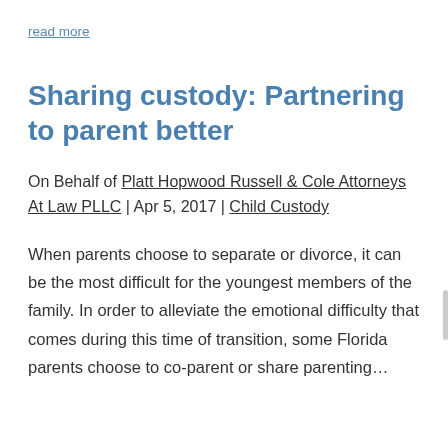read more
Sharing custody: Partnering to parent better
On Behalf of Platt Hopwood Russell & Cole Attorneys At Law PLLC | Apr 5, 2017 | Child Custody
When parents choose to separate or divorce, it can be the most difficult for the youngest members of the family. In order to alleviate the emotional difficulty that comes during this time of transition, some Florida parents choose to co-parent or share parenting…